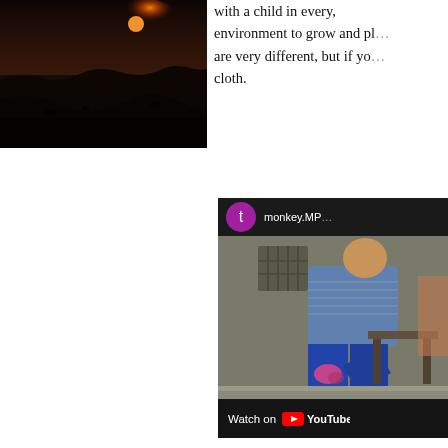[Figure (photo): Dark landscape photo showing a sunset or sunrise over a desert/arid landscape with a orange/red sun on the horizon and dark silhouettes of terrain]
with a child in every environment to grow and pl... are very different, but if yo... cloth.
[Figure (screenshot): YouTube video screenshot showing a man in a blue striped shirt and jeans appearing to dance or move, holding something pink/colorful. Video filename shown as 'monkey.MP...' with a purple avatar circle with letter 't'. Bottom bar shows 'Watch on YouTube' branding.]